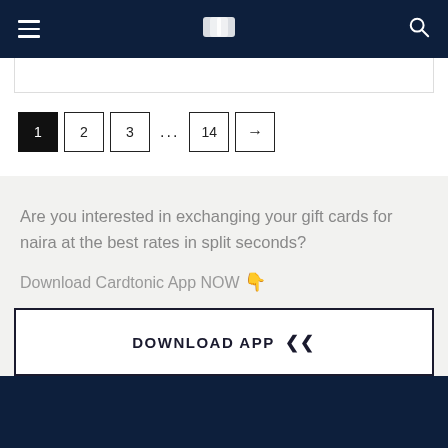Cardtonic navigation bar with logo
1 2 3 ... 14 →
Are you interested in exchanging your gift cards for naira at the best rates in split seconds?
Download Cardtonic App NOW 👇
DOWNLOAD APP ❯❯